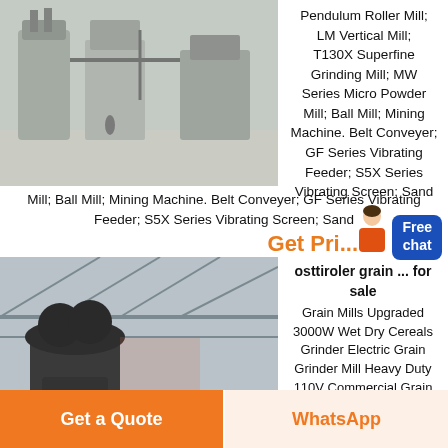[Figure (photo): Industrial grinding mill machinery inside a large factory building, showing silos and processing equipment.]
Pendulum Roller Mill; LM Vertical Mill; T130X Superfine Grinding Mill; MW Series Micro Powder Mill; Ball Mill; Mining Machine. Belt Conveyer; GF Series Vibrating Feeder; S5X Series Vibrating Screen; Sand
Get Pri...
Free chat
[Figure (photo): Industrial grain mill machines inside a large warehouse with steel frame structure, showing large cylindrical grinder units.]
osttiroler grain ... for sale
Grain Mills Upgraded 3000W Wet Dry Cereals Grinder Electric Grain Grinder Mill Heavy Duty 110V Commercial Grain Grinder Machine Rice Grain Coffee Wheat
Get a Quote
WhatsApp